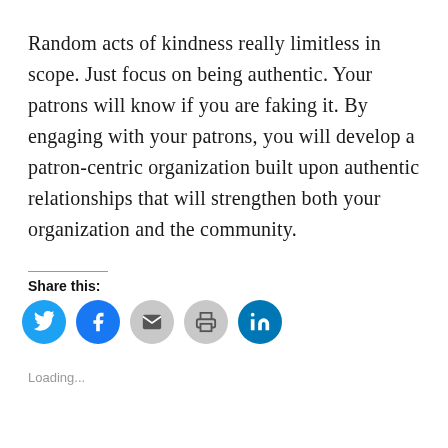Random acts of kindness really limitless in scope. Just focus on being authentic. Your patrons will know if you are faking it. By engaging with your patrons, you will develop a patron-centric organization built upon authentic relationships that will strengthen both your organization and the community.
Share this:
[Figure (infographic): Row of social share icon buttons: Twitter (blue), Facebook (blue), Email (gray), Print (gray), LinkedIn (blue)]
Loading...